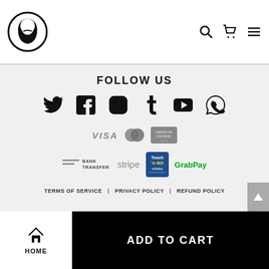[Figure (logo): Beard logo in circle with navigation icons (search, cart, hamburger menu)]
FOLLOW US
[Figure (infographic): Row of social media icons: Twitter, Facebook, Instagram, Tumblr, YouTube, WhatsApp]
[Figure (infographic): Payment method logos: VISA, MasterCard, American Express]
[Figure (infographic): Payment method logos: Bank Transfer, Stripe, Touch n Go eWallet, GrabPay]
TERMS OF SERVICE | PRIVACY POLICY | REFUND POLICY
[Figure (infographic): Bottom navigation bar with Home icon and ADD TO CART button]